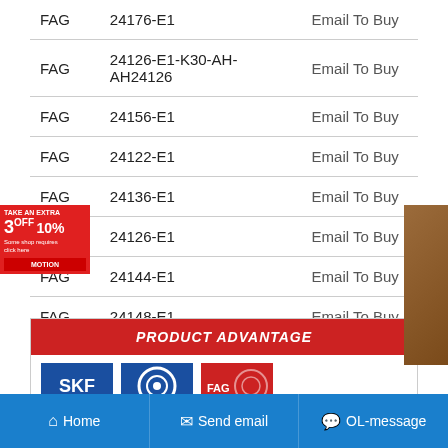| Brand | Model | Action |
| --- | --- | --- |
| FAG | 24176-E1 | Email To Buy |
| FAG | 24126-E1-K30-AH-AH24126 | Email To Buy |
| FAG | 24156-E1 | Email To Buy |
| FAG | 24122-E1 | Email To Buy |
| FAG | 24136-E1 | Email To Buy |
| FAG | 24126-E1 | Email To Buy |
| FAG | 24144-E1 | Email To Buy |
| FAG | 24148-E1 | Email To Buy |
[Figure (infographic): Product Advantage section with SKF, NSK, and FAG brand logos]
Home | Send email | OL-message